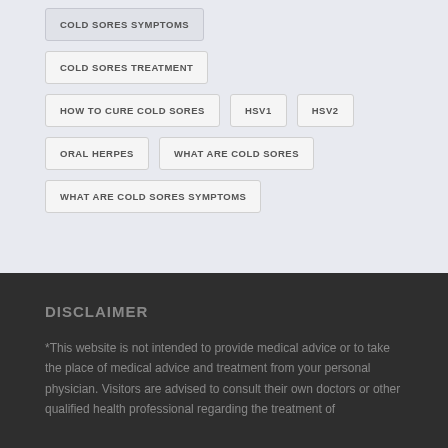COLD SORES SYMPTOMS
COLD SORES TREATMENT
HOW TO CURE COLD SORES
HSV1
HSV2
ORAL HERPES
WHAT ARE COLD SORES
WHAT ARE COLD SORES SYMPTOMS
DISCLAIMER
*This website is not intended to provide medical advice or to take the place of medical advice and treatment from your personal physician. Visitors are advised to consult their own doctors or other qualified health professional regarding the treatment of